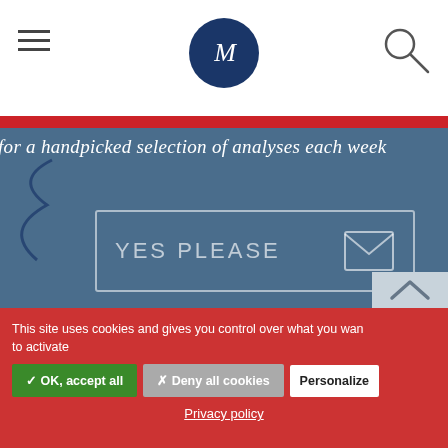[Figure (logo): Dark blue circular logo with stylized M letter in white italic serif font]
[Figure (illustration): Hamburger menu icon (three horizontal lines) on left, magnifying glass search icon on right]
for a handpicked selection of analyses each week
YES PLEASE
This site uses cookies and gives you control over what you want to activate
✓ OK, accept all
✗ Deny all cookies
Personalize
Privacy policy